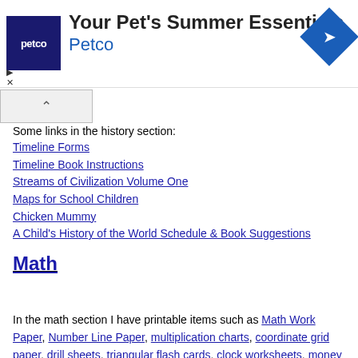[Figure (other): Petco advertisement banner with logo, 'Your Pet's Summer Essentials' text, Petco link, and blue diamond arrow icon]
Some links in the history section:
Timeline Forms
Timeline Book Instructions
Streams of Civilization Volume One
Maps for School Children
Chicken Mummy
A Child's History of the World Schedule & Book Suggestions
Math
In the math section I have printable items such as Math Work Paper, Number Line Paper, multiplication charts, coordinate grid paper, drill sheets, triangular flash cards, clock worksheets, money worksheets, black & white graph paper and